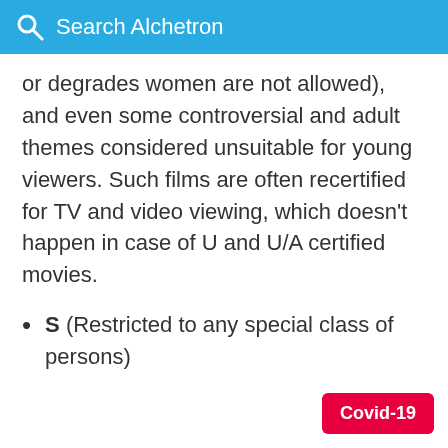Search Alchetron
or degrades women are not allowed), and even some controversial and adult themes considered unsuitable for young viewers. Such films are often recertified for TV and video viewing, which doesn't happen in case of U and U/A certified movies.
S (Restricted to any special class of persons)